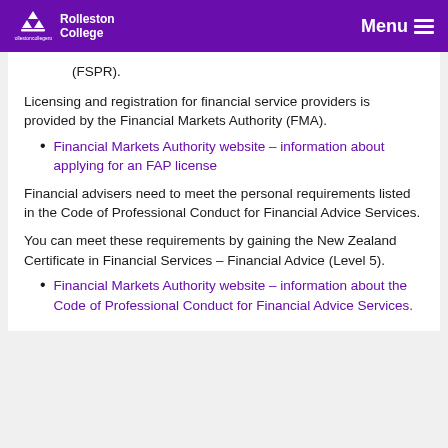Rolleston College — Menu
(FSPR).
Licensing and registration for financial service providers is provided by the Financial Markets Authority (FMA).
Financial Markets Authority website – information about applying for an FAP license
Financial advisers need to meet the personal requirements listed in the Code of Professional Conduct for Financial Advice Services.
You can meet these requirements by gaining the New Zealand Certificate in Financial Services – Financial Advice (Level 5).
Financial Markets Authority website – information about the Code of Professional Conduct for Financial Advice Services.